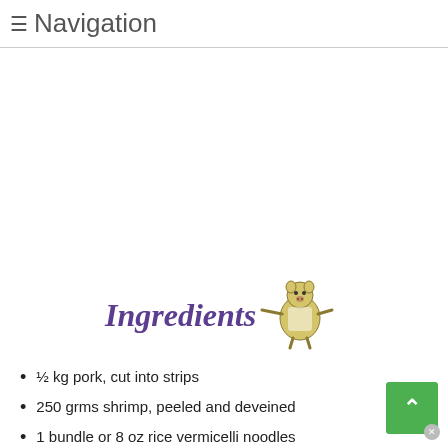≡ Navigation
[Figure (illustration): Ingredients logo with decorative cursive text 'Ingredients' in purple/dark color and a cartoon character (pig or animal) holding something, pointing]
½ kg pork, cut into strips
250 grms shrimp, peeled and deveined
1 bundle or 8 oz rice vermicelli noodles